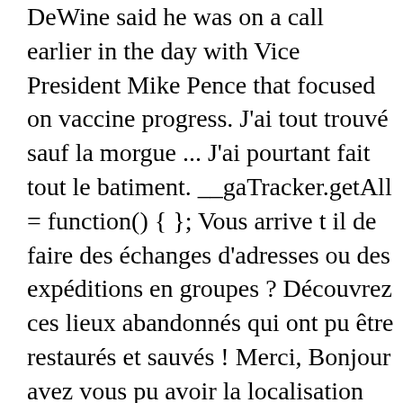DeWine said he was on a call earlier in the day with Vice President Mike Pence that focused on vaccine progress. J'ai tout trouvé sauf la morgue ... J'ai pourtant fait tout le batiment. __gaTracker.getAll = function() { }; Vous arrive t il de faire des échanges d'adresses ou des expéditions en groupes ? Découvrez ces lieux abandonnés qui ont pu être restaurés et sauvés ! Merci, Bonjour avez vous pu avoir la localisation Au sous-sol vers la balnéo ? Bonjour, Bonjour, !function(e,a,t) {var r,n,o,i,p=a.createElement("canvas"),s=p.getContext c(e,t){var a=String.fromCharCode;s.clearRect(0,0,p.width,p.h r=p.toDataURL();return